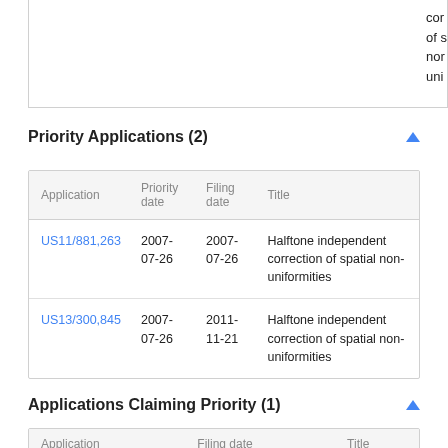cor of s nor uni
Priority Applications (2)
| Application | Priority date | Filing date | Title |
| --- | --- | --- | --- |
| US11/881,263 | 2007-07-26 | 2007-07-26 | Halftone independent correction of spatial non-uniformities |
| US13/300,845 | 2007-07-26 | 2011-11-21 | Halftone independent correction of spatial non-uniformities |
Applications Claiming Priority (1)
| Application | Filing date | Title |
| --- | --- | --- |